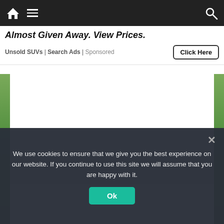Navigation bar with home, menu, and search icons
Almost Given Away. View Prices.
Unsold SUVs | Search Ads | Sponsored
[Figure (screenshot): White and gray content/image area with colored side strips (green gradient on left and right), representing a webpage content area that is partially loaded or blurred]
We use cookies to ensure that we give you the best experience on our website. If you continue to use this site we will assume that you are happy with it.